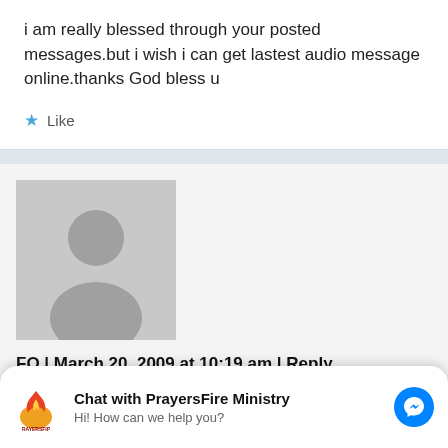i am really blessed through your posted messages.but i wish i can get lastest audio message online.thanks God bless u
★ Like
FO | March 20, 2009 at 10:19 am | Reply
Follow this link for videos on demand- messages by GO
[Figure (other): Chat widget with PrayersFire Ministry logo, bold title Chat with PrayersFire Ministry, subtitle Hi! How can we help you?, and blue Messenger icon button]